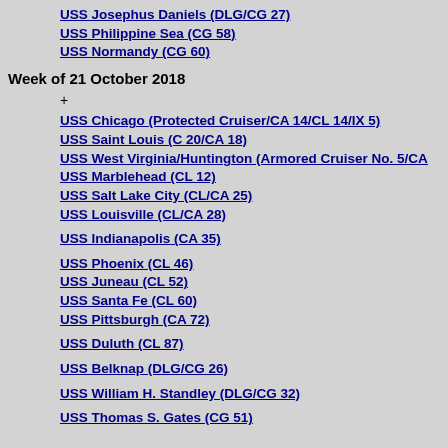USS Josephus Daniels (DLG/CG 27)
USS Philippine Sea (CG 58)
USS Normandy (CG 60)
Week of 21 October 2018
+
USS Chicago (Protected Cruiser/CA 14/CL 14/IX 5)
USS Saint Louis (C 20/CA 18)
USS West Virginia/Huntington (Armored Cruiser No. 5/CA...
USS Marblehead (CL 12)
USS Salt Lake City (CL/CA 25)
USS Louisville (CL/CA 28)
USS Indianapolis (CA 35)
USS Phoenix (CL 46)
USS Juneau (CL 52)
USS Santa Fe (CL 60)
USS Pittsburgh (CA 72)
USS Duluth (CL 87)
USS Belknap (DLG/CG 26)
USS William H. Standley (DLG/CG 32)
USS Thomas S. Gates (CG 51)